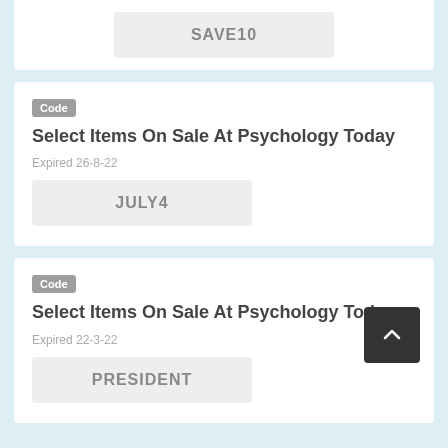SAVE10
Code
Select Items On Sale At Psychology Today
Expired 26-8-22
JULY4
Code
Select Items On Sale At Psychology Today
Expired 22-3-22
PRESIDENT